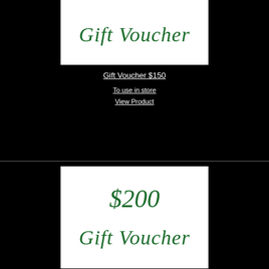[Figure (illustration): Gift Voucher image with cursive green text 'Gift Voucher' on white background]
Gift Voucher $150
To use in store
View Product
[Figure (illustration): $200 Gift Voucher image with cursive green text '$200' and 'Gift Voucher' on white background]